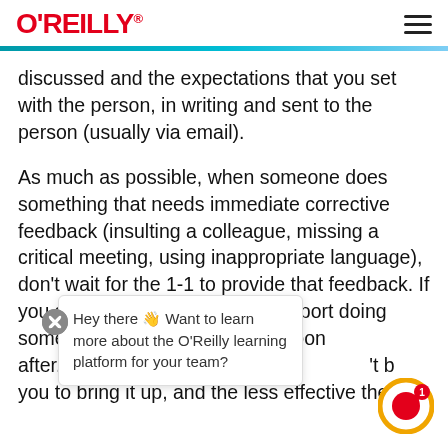O'REILLY
discussed and the expectations that you set with the person, in writing and sent to the person (usually via email).
As much as possible, when someone does something that needs immediate corrective feedback (insulting a colleague, missing a critical meeting, using inappropriate language), don't wait for the 1-1 to provide that feedback. If you see or hear about a direct report doing something you want to correct, address it as soon as possible after. The longer you wait, the harder it'll be for you to bring it up, and the less effective the